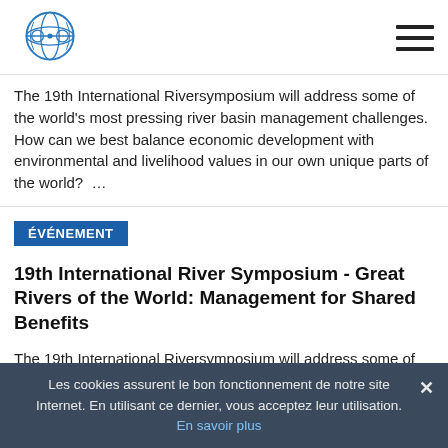Logo and navigation menu
The 19th International Riversymposium will address some of the world's most pressing river basin management challenges. How can we best balance economic development with environmental and livelihood values in our own unique parts of the world? …
ÉVÉNEMENT
19th International River Symposium - Great Rivers of the World: Management for Shared Benefits
The 19th International Riversymposium will address some of the world's most pressing river basin management
Les cookies assurent le bon fonctionnement de notre site Internet. En utilisant ce dernier, vous acceptez leur utilisation. En savoir plus